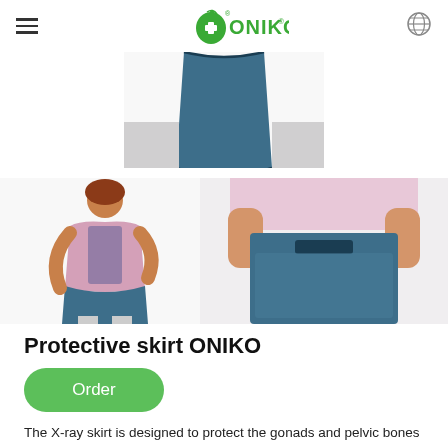ONIKO
[Figure (photo): Top portion of a blue radiation protective skirt/apron product shown from waist down on a model]
[Figure (photo): Woman wearing a pink protective vest top and blue protective skirt, full view]
[Figure (photo): Close-up of blue protective skirt being fastened at the waist]
Protective skirt ONIKO
Order
The X-ray skirt is designed to protect the gonads and pelvic bones on all sides. The width of the front of